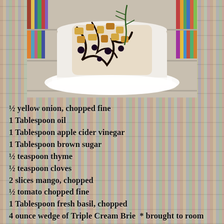[Figure (photo): A plate of chopped food (mango, brie, toppings) with balsamic drizzle on a white plate, set against a bookshelf background]
½ yellow onion, chopped fine
1 Tablespoon oil
1 Tablespoon apple cider vinegar
1 Tablespoon brown sugar
½ teaspoon thyme
½ teaspoon cloves
2 slices mango, chopped
½ tomato chopped fine
1 Tablespoon fresh basil, chopped
4 ounce wedge of Triple Cream Brie  * brought to room temperature
8-10 crackers or crisp bread